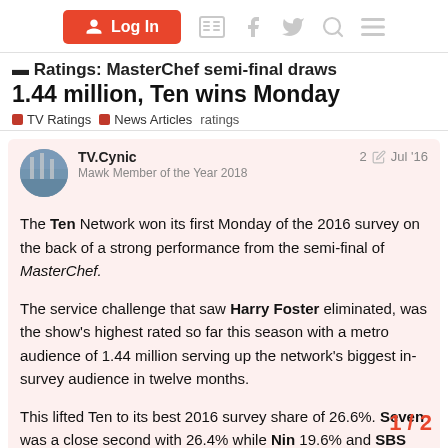Log In
Ratings: MasterChef semi-final draws 1.44 million, Ten wins Monday
TV Ratings  News Articles  ratings
TV.Cynic
Mawk Member of the Year 2018
2  Jul '16
The Ten Network won its first Monday of the 2016 survey on the back of a strong performance from the semi-final of MasterChef.
The service challenge that saw Harry Foster eliminated, was the show's highest rated so far this season with a metro audience of 1.44 million serving up the network's biggest in-survey audience in twelve months.
This lifted Ten to its best 2016 survey share of 26.6%. Seven was a close second with 26.4% while Nin 19.6% and SBS 4.7%.
1 / 2